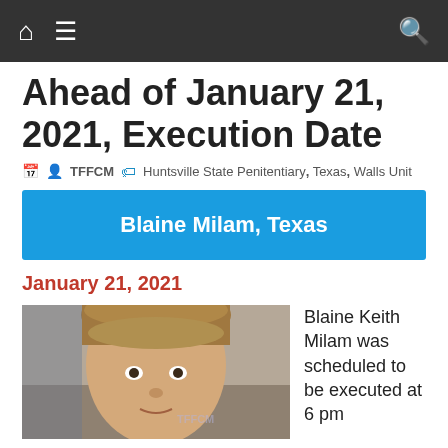Navigation bar with home, menu, and search icons
Ahead of January 21, 2021, Execution Date
TFFCM   Huntsville State Penitentiary, Texas, Walls Unit
Blaine Milam, Texas
January 21, 2021
[Figure (photo): Photo of Blaine Keith Milam, a young man with short brown hair]
Blaine Keith Milam was scheduled to be executed at 6 pm